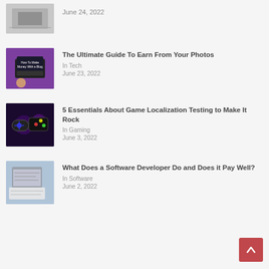June 24, 2022
The Ultimate Guide To Earn From Your Photos | In Tech | June 23, 2022
5 Essentials About Game Localization Testing to Make It Rock | In Gaming | June 3, 2022
What Does a Software Developer Do and Does it Pay Well? | In Software | June 2, 2022